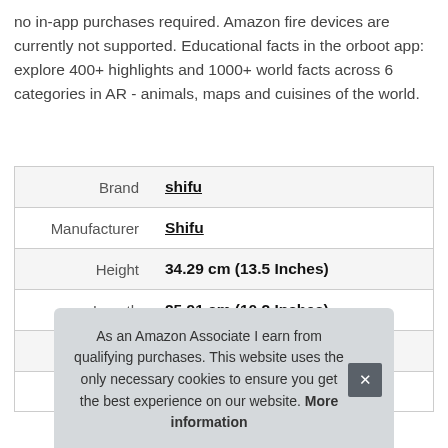no in-app purchases required. Amazon fire devices are currently not supported. Educational facts in the orboot app: explore 400+ highlights and 1000+ world facts across 6 categories in AR - animals, maps and cuisines of the world.
| Brand | shifu |
| Manufacturer | Shifu |
| Height | 34.29 cm (13.5 Inches) |
| Length | 25.91 cm (10.2 Inches) |
| Weight | 1.2 kg (2.65 Pounds) |
| P |  |
As an Amazon Associate I earn from qualifying purchases. This website uses the only necessary cookies to ensure you get the best experience on our website. More information